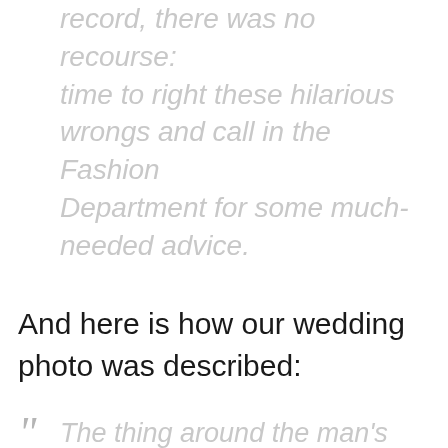worst wedding day outfits on record, there was no recourse: time to right these hilarious wrongs and call in the Fashion Department for some much-needed advice.
And here is how our wedding photo was described:
“ The thing around the man’s neck in this photo is called a cravat, last seen around the neck of the